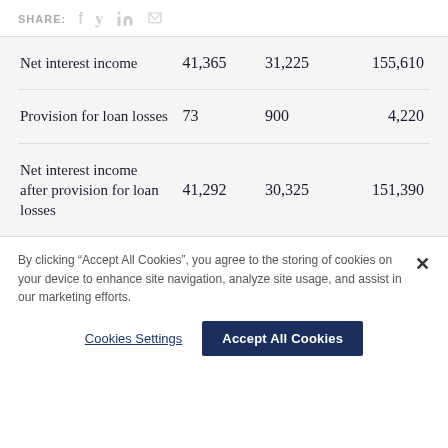SHARE:
|  |  |  |  |
| --- | --- | --- | --- |
| Net interest income | 41,365 | 31,225 | 155,610 |
| Provision for loan losses | 73 | 900 | 4,220 |
| Net interest income after provision for loan losses | 41,292 | 30,325 | 151,390 |
By clicking “Accept All Cookies”, you agree to the storing of cookies on your device to enhance site navigation, analyze site usage, and assist in our marketing efforts.
Cookies Settings
Accept All Cookies